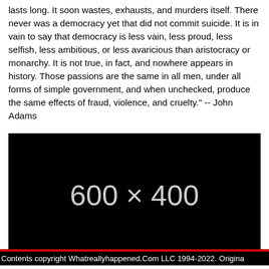lasts long. It soon wastes, exhausts, and murders itself. There never was a democracy yet that did not commit suicide. It is in vain to say that democracy is less vain, less proud, less selfish, less ambitious, or less avaricious than aristocracy or monarchy. It is not true, in fact, and nowhere appears in history. Those passions are the same in all men, under all forms of simple government, and when unchecked, produce the same effects of fraud, violence, and cruelty." -- John Adams
[Figure (other): Black placeholder image with white text showing '600 x 400']
Contents copyright Whatreallyhappened.Com LLC 1994-2022. Origina